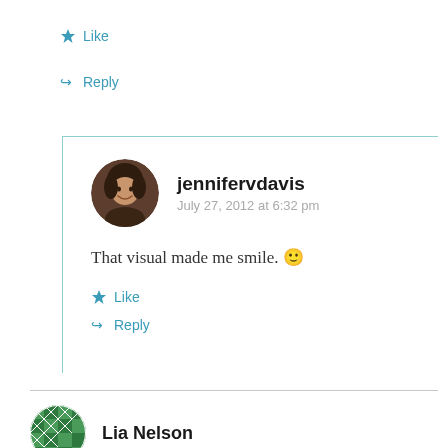★ Like
↪ Reply
jennifervdavis
July 27, 2012 at 6:32 pm

That visual made me smile. 🙂
★ Like
↪ Reply
Lia Nelson